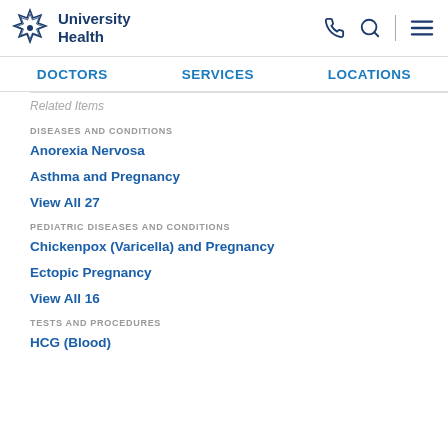University Health
DOCTORS | SERVICES | LOCATIONS
Related Items
DISEASES AND CONDITIONS
Anorexia Nervosa
Asthma and Pregnancy
View All 27
PEDIATRIC DISEASES AND CONDITIONS
Chickenpox (Varicella) and Pregnancy
Ectopic Pregnancy
View All 16
TESTS AND PROCEDURES
HCG (Blood)